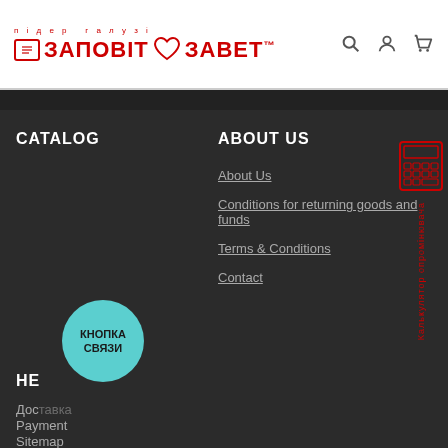[Figure (logo): Заповіт Завет brand logo with red text and heart symbol, tagline 'підер галузі']
CATALOG
ABOUT US
About Us
Conditions for returning goods and funds
Terms & Conditions
Contact
[Figure (illustration): Red calculator icon with rotated Ukrainian text Калькулятор опромінювача]
HELP
Доставка
Payment
Sitemap
[Figure (other): Teal circular button with text КНОПКА СВЯЗИ]